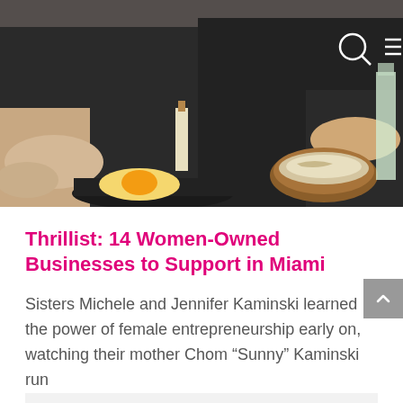[Figure (photo): Two people in black aprons cooking in a kitchen, with pans and wooden bowls on the counter. Navigation icons (search and hamburger menu) visible in top right corner.]
Thrillist: 14 Women-Owned Businesses to Support in Miami
Sisters Michele and Jennifer Kaminski learned the power of female entrepreneurship early on, watching their mother Chom “Sunny” Kaminski run
We use cookies on our website to give you the most relevant experience by remembering your preferences and repeat visits. By clicking “Accept”, you consent to the use of ALL the cookies.
Cookie settings
ACCEPT